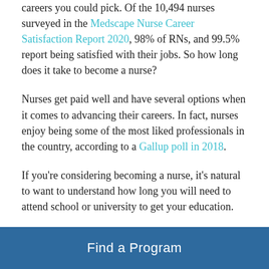…career. A career in nursing is one of the most satisfying careers you could pick. Of the 10,494 nurses surveyed in the Medscape Nurse Career Satisfaction Report 2020, 98% of RNs, and 99.5% report being satisfied with their jobs. So how long does it take to become a nurse?
Nurses get paid well and have several options when it comes to advancing their careers. In fact, nurses enjoy being some of the most liked professionals in the country, according to a Gallup poll in 2018.
If you're considering becoming a nurse, it's natural to want to understand how long you will need to attend school or university to get your education.
But the process of figuring out what degree you…
Find a Program